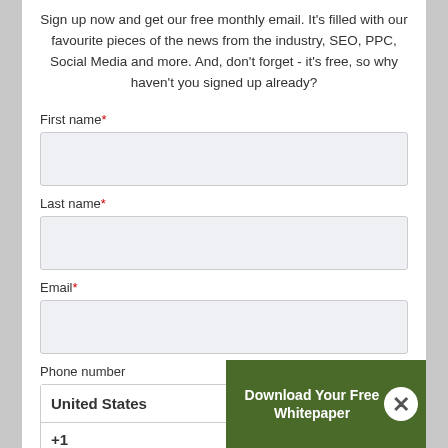Sign up now and get our free monthly email. It's filled with our favourite pieces of the news from the industry, SEO, PPC, Social Media and more. And, don't forget - it's free, so why haven't you signed up already?
First name*
Last name*
Email*
Phone number
United States
+1
[Figure (screenshot): Overlay banner showing 'Download Your Free Whitepaper' with a close (X) button on a green background]